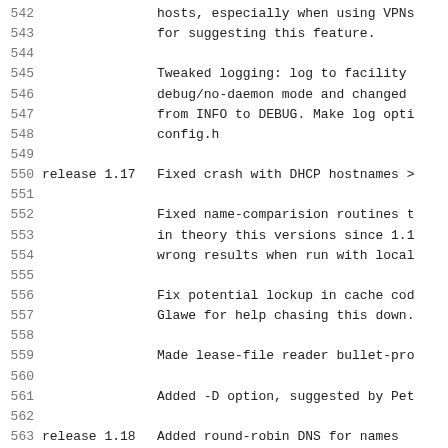542    hosts, especially when using VPNs
543    for suggesting this feature.
544
545    Tweaked logging: log to facility
546    debug/no-daemon mode and changed
547    from INFO to DEBUG. Make log opti
548    config.h
549
550  release 1.17  Fixed crash with DHCP hostnames >
551
552    Fixed name-comparision routines t
553    in theory this versions since 1.1
554    wrong results when run with local
555
556    Fix potential lockup in cache cod
557    Glawe for help chasing this down.
558
559    Made lease-file reader bullet-pro
560
561    Added -D option, suggested by Pet
562
563  release 1.18  Added round-robin DNS for names